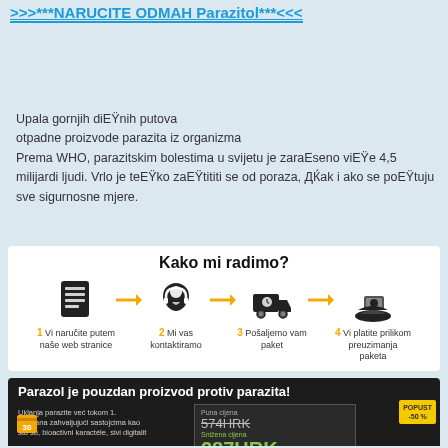>>>***NARUCITE ODMAH Parazitol***<<<
Upala gornjih diEŸnih putova
otpadne proizvode parazita iz organizma
Prema WHO, parazitskim bolestima u svijetu je zaraEseno viEŸe 4,5 milijardi ljudi. Vrlo je teEŸko zaEŸtititi se od poraza, ДЌak i ako se poEŸtuju sve sigurnosne mjere.
[Figure (infographic): Kako mi radimo? - 4 step process: 1 Vi naručite putem naše web stranice, 2 Mi vas kontaktiramo, 3 Pošaljemo vam paket, 4 Vi platite prilikom preuzimanja paketa. Icons with yellow arrows between steps.]
[Figure (infographic): Parazol je pouzdan proizvod protiv parazita! Dark background section with text, pricing showing 574HRK struck through and 287HRK in green, discount badge -50%, and small text about removing parasites during first treatment.]